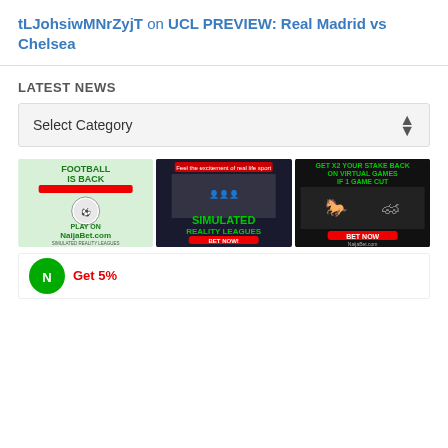tLJohsiwMNrZyjT on UCL PREVIEW: Real Madrid vs Chelsea
LATEST NEWS
Select Category
[Figure (illustration): Three NaijaBet.com advertisement banners side by side: (1) Football Is Back - Play on NaijaBet.com Simulated Reality Leagues, (2) Simulated Reality Leagues - Bet Now on NaijaBet.com, (3) Get X2 Your Stake Back on Virtual Games If 1 Game Cut - Bet Now on NaijaBet.com]
[Figure (logo): NaijaBet logo partial banner at bottom with text starting 'Get 5%']